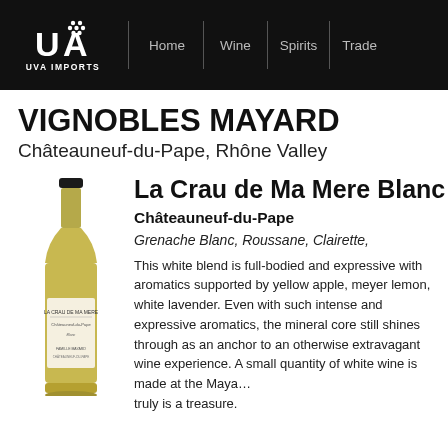UVA IMPORTS — Home | Wine | Spirits | Trade
VIGNOBLES MAYARD
Châteauneuf-du-Pape, Rhône Valley
La Crau de Ma Mere Blanc
Châteauneuf-du-Pape
Grenache Blanc, Roussane, Clairette,
[Figure (photo): Wine bottle of La Crau de Ma Mere Châteauneuf-du-Pape Blanc by Vignobles Mayard]
This white blend is full-bodied and expressive with aromatics supported by yellow apple, meyer lemon, white lavender. Even with such intense and expressive aromatics, the mineral core still shines through as an anchor to an otherwise extravagant wine experience. A small quantity of white wine is made at the Mayard... truly is a treasure.